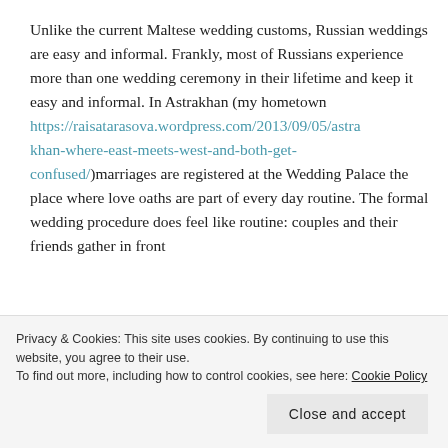Unlike the current Maltese wedding customs, Russian weddings are easy and informal. Frankly, most of Russians experience more than one wedding ceremony in their lifetime and keep it easy and informal. In Astrakhan (my hometown https://raisatarasova.wordpress.com/2013/09/05/astrakhan-where-east-meets-west-and-both-get-confused/)marriages are registered at the Wedding Palace the place where love oaths are part of every day routine. The formal wedding procedure does feel like routine: couples and their friends gather in front
Privacy & Cookies: This site uses cookies. By continuing to use this website, you agree to their use.
To find out more, including how to control cookies, see here: Cookie Policy
Close and accept